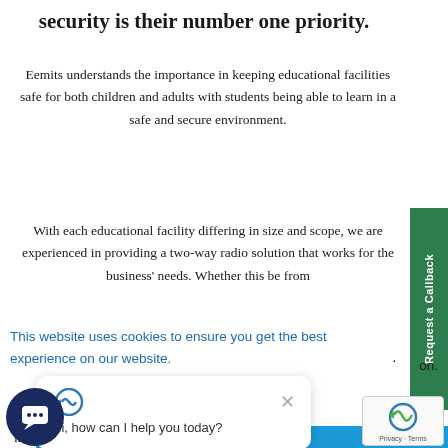security is their number one priority.
Eemits understands the importance in keeping educational facilities safe for both children and adults with students being able to learn in a safe and secure environment.
With each educational facility differing in size and scope, we are experienced in providing a two-way radio solution that works for the business' needs. Whether this be from
This website uses cookies to ensure you get the best experience on our website.
Hi, how can I help you today?
Got it!
implemented to protect the wellbeing of students and